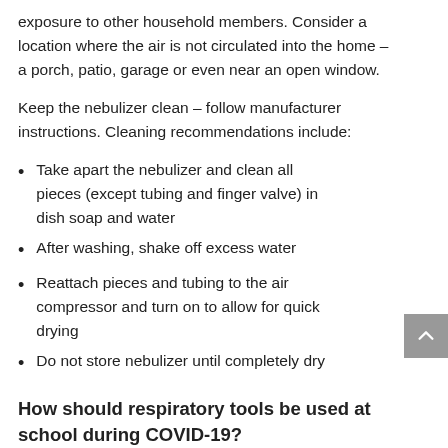exposure to other household members. Consider a location where the air is not circulated into the home – a porch, patio, garage or even near an open window.
Keep the nebulizer clean – follow manufacturer instructions. Cleaning recommendations include:
Take apart the nebulizer and clean all pieces (except tubing and finger valve) in dish soap and water
After washing, shake off excess water
Reattach pieces and tubing to the air compressor and turn on to allow for quick drying
Do not store nebulizer until completely dry
How should respiratory tools be used at school during COVID-19?
When permitted by school policies or state law, students should be allowed to use their personal